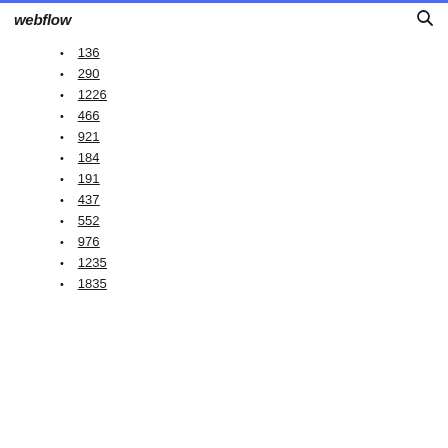webflow
136
290
1226
466
921
184
191
437
552
976
1235
1835